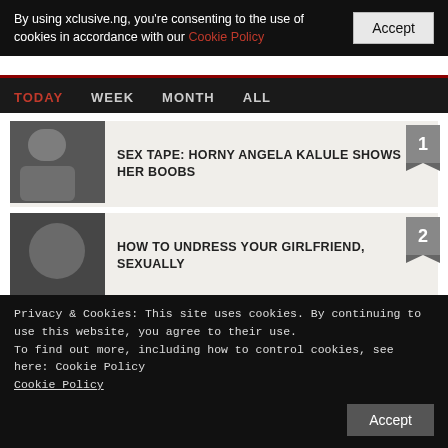By using xclusive.ng, you're consenting to the use of cookies in accordance with our Cookie Policy
Accept
TODAY   WEEK   MONTH   ALL
SEX TAPE: HORNY ANGELA KALULE SHOWS HER BOOBS
HOW TO UNDRESS YOUR GIRLFRIEND, SEXUALLY
BUHARI MOURNS EKWUEME
Privacy & Cookies: This site uses cookies. By continuing to use this website, you agree to their use.
To find out more, including how to control cookies, see here: Cookie Policy
Cookie Policy
Accept